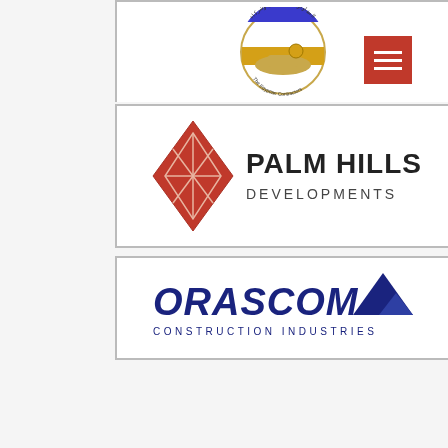[Figure (logo): The Egyptian Contractors Society circular seal/logo with Arabic text, blue and gold Sphinx imagery]
[Figure (logo): Palm Hills Developments logo - red diamond geometric icon with PALM HILLS DEVELOPMENTS text in black]
[Figure (logo): Orascom Construction Industries logo in dark blue bold text with small pyramid graphic]
[Figure (other): Red hamburger menu button in top right corner]